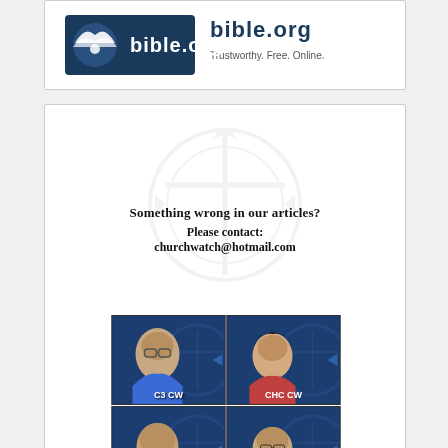[Figure (logo): bible.org logo — white dove/cross icon on dark blue background with 'bible.org' text in white]
[Figure (infographic): Contact card with faint cross watermark. Text: 'Something wrong in our articles? Please contact: churchwatch@hotmail.com'. Below: 2x2 grid of four images labeled C3 CW, CHC CW, HS CW, YFG CW — each showing a person's face on a dark blue churchwatch-branded background.]
Choose Topic